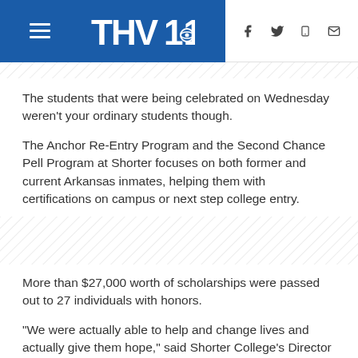THV11 (navigation bar with logo and social icons)
The students that were being celebrated on Wednesday weren't your ordinary students though.
The Anchor Re-Entry Program and the Second Chance Pell Program at Shorter focuses on both former and current Arkansas inmates, helping them with certifications on campus or next step college entry.
[Figure (other): Diagonal stripe decorative band]
More than $27,000 worth of scholarships were passed out to 27 individuals with honors.
"We were actually able to help and change lives and actually give them hope," said Shorter College's Director of Support Services, Rick Watson.